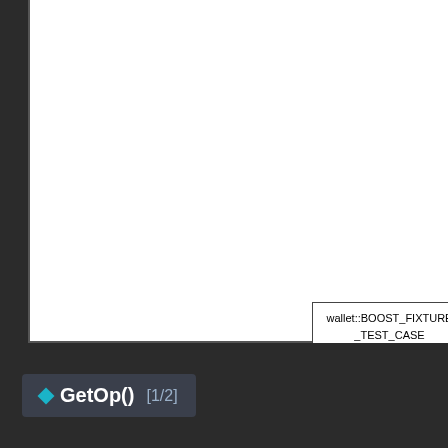[Figure (engineering-diagram): Software call graph / dependency diagram showing two nodes: 'wallet::BOOST_FIXTURE_TEST_CASE' and 'wallet::GetWalletRPCComm...' partially visible, connected by lines on a white canvas with dark sidebar. Bottom bar shows a navigation button for GetOp() [1/2].]
wallet::BOOST_FIXTURE_TEST_CASE
wallet::GetWalletRPCComm...
◆ GetOp() [1/2]